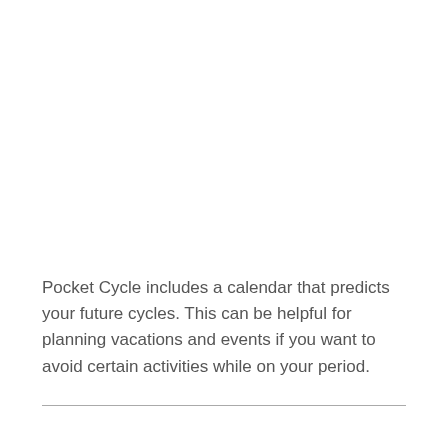Pocket Cycle includes a calendar that predicts your future cycles. This can be helpful for planning vacations and events if you want to avoid certain activities while on your period.